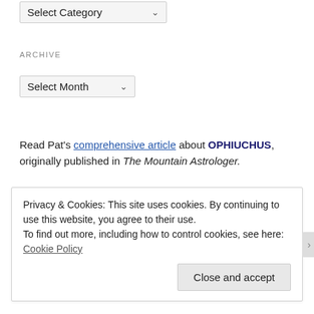[Figure (screenshot): Select Category dropdown UI element with downward arrow]
ARCHIVE
[Figure (screenshot): Select Month dropdown UI element with downward arrow]
Read Pat's comprehensive article about OPHIUCHUS, originally published in The Mountain Astrologer.
Privacy & Cookies: This site uses cookies. By continuing to use this website, you agree to their use.
To find out more, including how to control cookies, see here: Cookie Policy
Close and accept